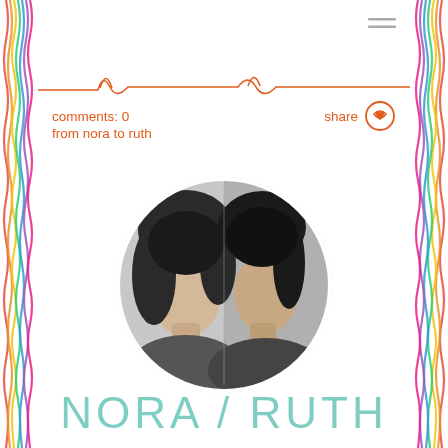[Figure (illustration): Colorful rainbow striped wavy vertical border on left and right sides of the page]
[Figure (illustration): Orange hand-drawn wavy horizontal line across the page with small loops]
comments: 0
share ♥
from nora to ruth
[Figure (photo): Circular black and white photo showing two women face-to-face, Nora on the left and Ruth on the right]
NORA / RUTH